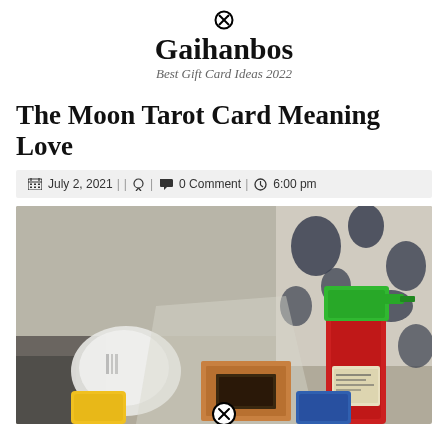Gaihanbos — Best Gift Card Ideas 2022
The Moon Tarot Card Meaning Love
July 2, 2021 | | [user icon] | [comment icon] 0 Comment | [clock icon] 6:00 pm
[Figure (photo): A photograph showing cleaning products and household items including a spray bottle with green top, wrapped items in plastic, and a yellow object, placed on a couch with a decorative pillow in the background.]